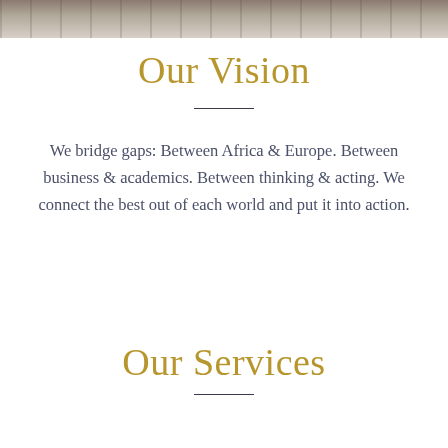[Figure (photo): Partial photo strip at the top of the page showing people, cropped to show only the bottom portion]
Our Vision
We bridge gaps: Between Africa & Europe. Between business & academics. Between thinking & acting. We connect the best out of each world and put it into action.
Our Services